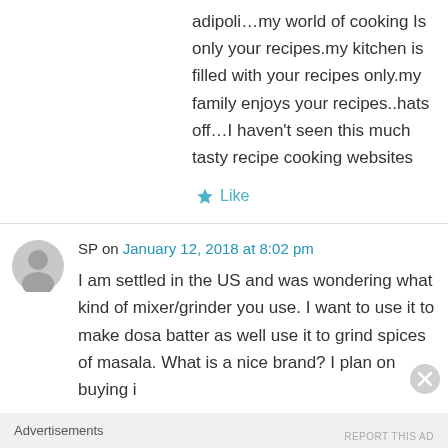adipoli…my world of cooking Is only your recipes.my kitchen is filled with your recipes only.my family enjoys your recipes..hats off…I haven't seen this much tasty recipe cooking websites
Like
SP on January 12, 2018 at 8:02 pm
I am settled in the US and was wondering what kind of mixer/grinder you use. I want to use it to make dosa batter as well use it to grind spices of masala. What is a nice brand? I plan on buying i
Advertisements